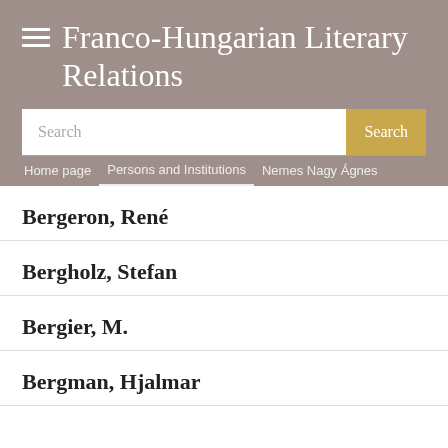Franco-Hungarian Literary Relations
Search
Home page / Persons and Institutions / Nemes Nagy Ágnes
Bergeron, René
Bergholz, Stefan
Bergier, M.
Bergman, Hjalmar